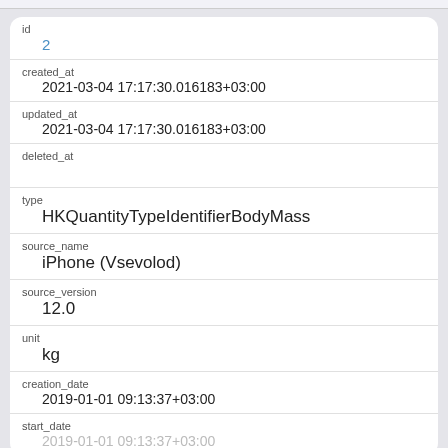| field | value |
| --- | --- |
| id | 2 |
| created_at | 2021-03-04 17:17:30.016183+03:00 |
| updated_at | 2021-03-04 17:17:30.016183+03:00 |
| deleted_at |  |
| type | HKQuantityTypeIdentifierBodyMass |
| source_name | iPhone (Vsevolod) |
| source_version | 12.0 |
| unit | kg |
| creation_date | 2019-01-01 09:13:37+03:00 |
| start_date | 2019-01-01 09:13:37+03:00 |